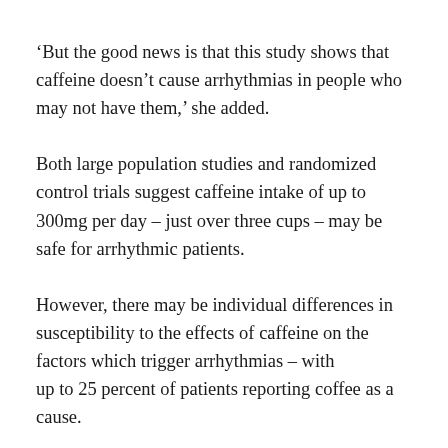‘But the good news is that this study shows that caffeine doesn’t cause arrhythmias in people who may not have them,’ she added.
Both large population studies and randomized control trials suggest caffeine intake of up to 300mg per day – just over three cups – may be safe for arrhythmic patients.
However, there may be individual differences in susceptibility to the effects of caffeine on the factors which trigger arrhythmias – with up to 25 percent of patients reporting coffee as a cause.
These should be advised to abstain. Future research